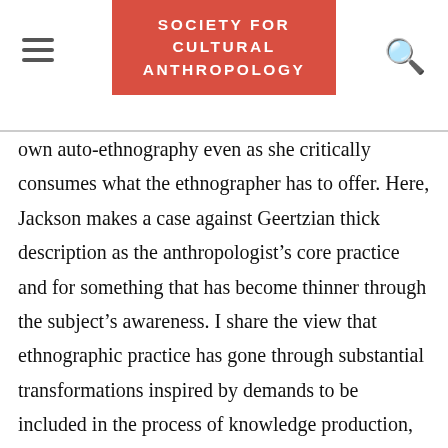SOCIETY FOR CULTURAL ANTHROPOLOGY
own auto-ethnography even as she critically consumes what the ethnographer has to offer. Here, Jackson makes a case against Geertzian thick description as the anthropologist’s core practice and for something that has become thinner through the subject’s awareness. I share the view that ethnographic practice has gone through substantial transformations inspired by demands to be included in the process of knowledge production, but here I argue against the idea of thinness. As rich as the representations of a collaborator’s own awareness and agency may be, the anthropologist’s engagement with them can also bring the